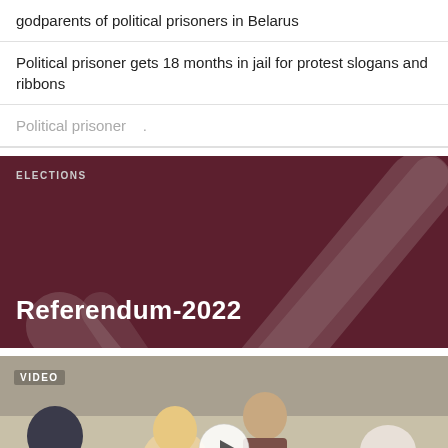godparents of political prisoners in Belarus
Political prisoner gets 18 months in jail for protest slogans and ribbons
Political prisoner...
[Figure (illustration): Dark maroon card with large checkmark watermark graphic, ELECTIONS label, and title Referendum-2022]
[Figure (photo): Video card showing people seated at a table, with VIDEO label and play button overlay]